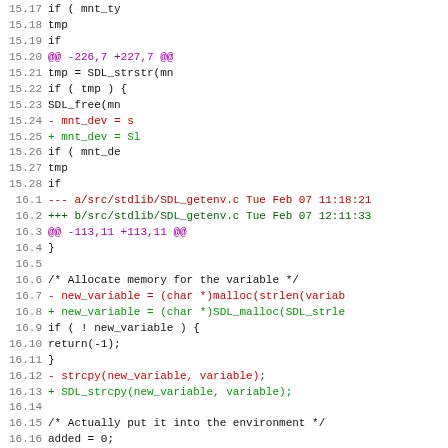[Figure (screenshot): Code diff view showing unified diff of SDL source files with line numbers, removed lines in red, added lines in green, and hunk headers in purple.]